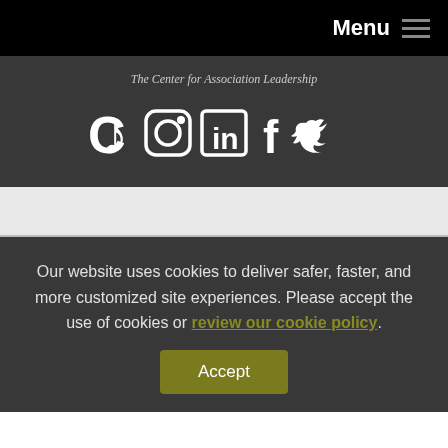Menu
The Center for Association Leadership
[Figure (other): Social media icons row: Constant Contact (C), Instagram, LinkedIn, Facebook, Twitter]
Our website uses cookies to deliver safer, faster, and more customized site experiences. Please accept the use of cookies or review our cookie policy.
Accept